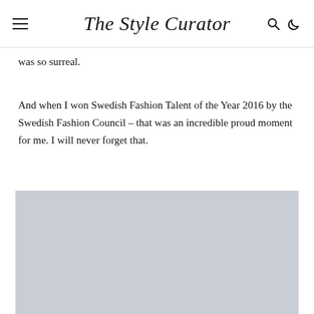The Style Curator
was so surreal.
And when I won Swedish Fashion Talent of the Year 2016 by the Swedish Fashion Council – that was an incredible proud moment for me. I will never forget that.
[Figure (photo): A light grey placeholder image block, approximately rectangular, representing a photograph in the article.]